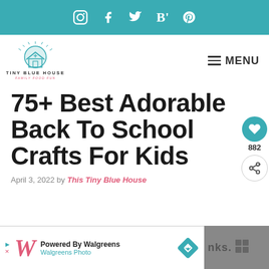Social icons bar: Instagram, Facebook, Twitter, Bloglovin, Pinterest
[Figure (logo): Tiny Blue House logo with house icon and text TINY BLUE HOUSE / FAMILY FOOD FUN]
≡ MENU
75+ Best Adorable Back To School Crafts For Kids
April 3, 2022 by This Tiny Blue House
[Figure (infographic): Heart/like button showing 882 likes and a share button]
[Figure (screenshot): Walgreens ad banner: Powered By Walgreens / Walgreens Photo with navigation icon]